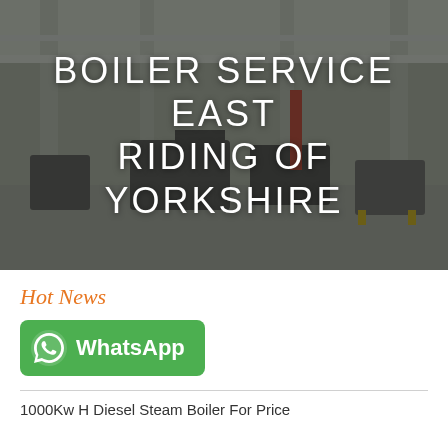[Figure (photo): Industrial factory/boiler facility interior with overhead cranes, structural columns, and large boiler equipment on the floor. Dark overlay tint applied.]
BOILER SERVICE EAST RIDING OF YORKSHIRE
Hot News
[Figure (logo): WhatsApp button with phone/chat icon and text 'WhatsApp' on green rounded rectangle background]
1000Kw H Diesel Steam Boiler For Price